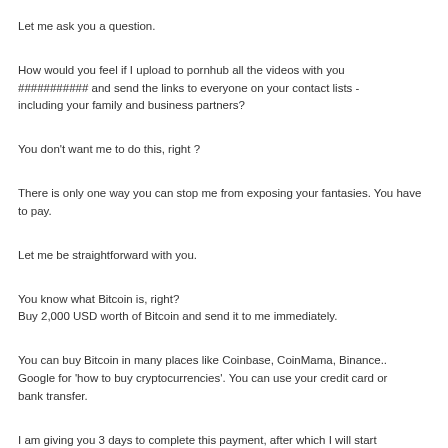Let me ask you a question.
How would you feel if I upload to pornhub all the videos with you ########### and send the links to everyone on your contact lists - including your family and business partners?
You don't want me to do this, right ?
There is only one way you can stop me from exposing your fantasies. You have to pay.
Let me be straightforward with you.
You know what Bitcoin is, right?
Buy 2,000 USD worth of Bitcoin and send it to me immediately.
You can buy Bitcoin in many places like Coinbase, CoinMama, Binance.. Google for 'how to buy cryptocurrencies'. You can use your credit card or bank transfer.
I am giving you 3 days to complete this payment, after which I will start